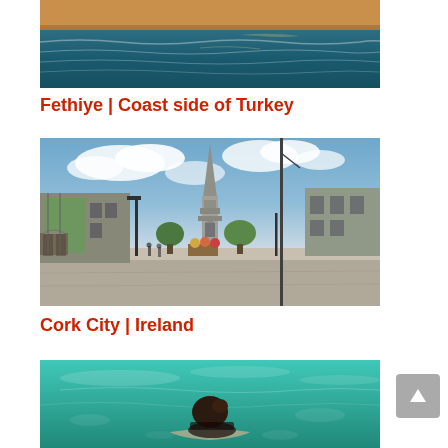[Figure (photo): Aerial or elevated view of a coastline with turquoise ocean waves and sandy beach — Fethiye, Turkey]
Fethiye | Coast side of Turkey
[Figure (photo): Wide-angle street view of Cork City centre showing a tall gothic monument/spire, historic buildings with scaffolding on the left, and a city square — Cork City, Ireland]
Cork City | Ireland
[Figure (photo): Underwater or shallow water photo showing a person snorkeling or swimming in clear turquoise water, viewed from above and behind]